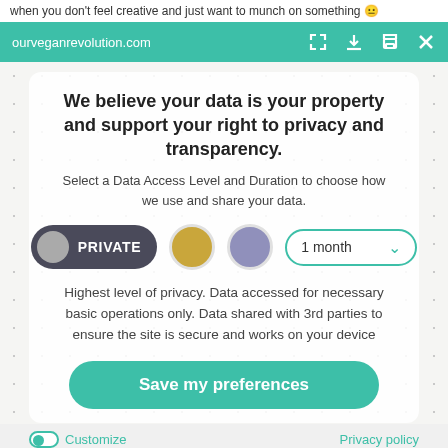when you don't feel creative and just want to munch on something 😐
ourveganrevolution.com
We believe your data is your property and support your right to privacy and transparency.
Select a Data Access Level and Duration to choose how we use and share your data.
[Figure (other): Privacy level selector with PRIVATE button (dark rounded pill with gray circle icon), gold circle, purple circle, and '1 month' dropdown selector with teal border]
Highest level of privacy. Data accessed for necessary basic operations only. Data shared with 3rd parties to ensure the site is secure and works on your device
Save my preferences
Customize
Privacy policy